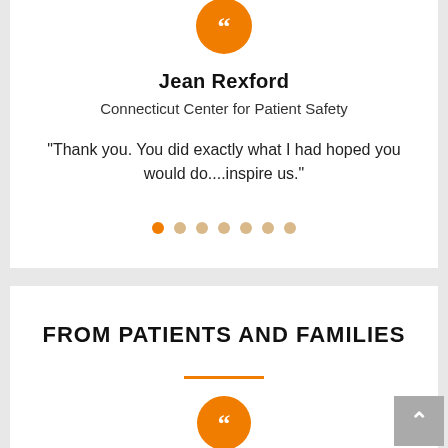[Figure (illustration): Orange circle with large white double quotation marks]
Jean Rexford
Connecticut Center for Patient Safety
"Thank you. You did exactly what I had hoped you would do....inspire us."
[Figure (other): Carousel navigation dots: 7 dots, first one orange/active, rest light orange/inactive]
FROM PATIENTS AND FAMILIES
[Figure (illustration): Orange circle with large white double quotation marks (bottom section)]